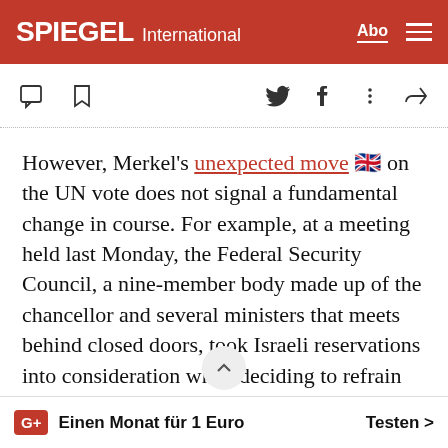SPIEGEL International
However, Merkel's unexpected move on the UN vote does not signal a fundamental change in course. For example, at a meeting held last Monday, the Federal Security Council, a nine-member body made up of the chancellor and several ministers that meets behind closed doors, took Israeli reservations into consideration when deciding to refrain for now from selling submarines to Egypt. Likewise, Germany continues to firmly side with Israel in the conflict over Iran's nuclear ambitions.
G+ Einen Monat für 1 Euro   Testen >